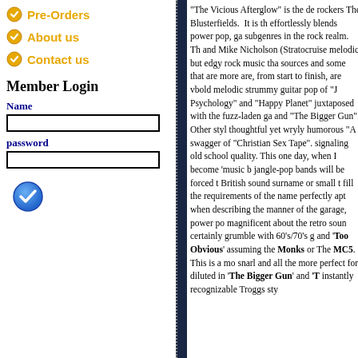Pre-Orders
About us
Contact us
Member Login
Name
password
“The Vicious Afterglow” is the de rockers The Blusterfields. It is th effortlessly blends power pop, ga subgenres in the rock realm. Th and Mike Nicholson (Stratocruise melodic, but edgy rock music tha sources and some that are more are, from start to finish, are vbold melodic strummy guitar pop of “J Psychology” and “Happy Planet” juxtaposed with the fuzz-laden ga and “The Bigger Gun”. Other styl thoughtful yet wryly humorous “A swagger of “Christian Sex Tape”. signaling old school quality. This one day, when I become ‘music b jangle-pop bands will be forced t British sound surname or small t fill the requirements of the name perfectly apt when describing the manner of the garage, power po magnificent about the retro soun certainly grumble with 60’s/70’s g and ‘Too Obvious’ assuming the Monks or The MC5. This is a mo snarl and all the more perfect for diluted in ‘The Bigger Gun’ and ‘ instantly recognizable Troggs sty